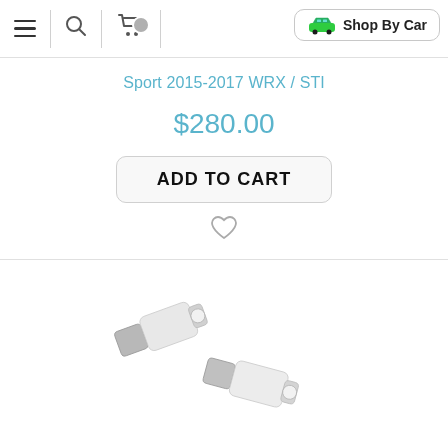Navigation bar with menu, search, cart, and Shop By Car button
Sport 2015-2017 WRX / STI
$280.00
ADD TO CART
[Figure (photo): Two small cylindrical LED bulbs (white/silver) photographed on white background, shown at slight angles.]